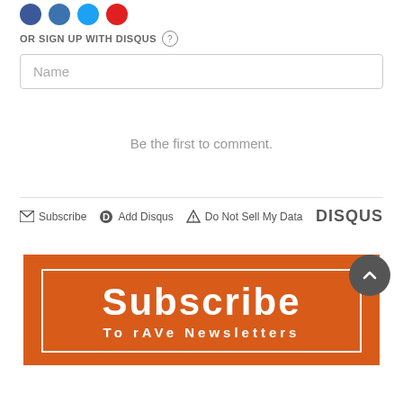[Figure (other): Social media icon circles (blue Facebook, blue Twitter, blue, red)]
OR SIGN UP WITH DISQUS (?)
Name
Be the first to comment.
Subscribe | Add Disqus | Do Not Sell My Data | DISQUS
[Figure (other): Subscribe To rAVe Newsletters orange banner button]